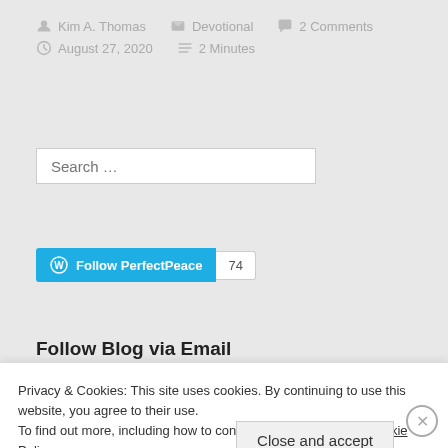Kim A. Thomas   Devotional   2 Comments   August 27, 2020   2 Minutes
Search ...
[Figure (other): Follow PerfectPeace button with count 74]
Follow Blog via Email
Privacy & Cookies: This site uses cookies. By continuing to use this website, you agree to their use. To find out more, including how to control cookies, see here: Cookie Policy
Close and accept